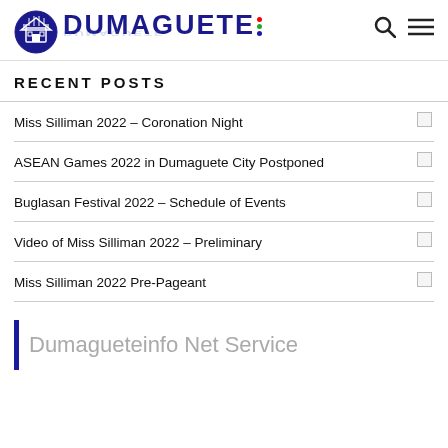[Figure (logo): Dumaguete Info logo with building icon and colorful dots, with reflection effect]
RECENT POSTS
Miss Silliman 2022 – Coronation Night
ASEAN Games 2022 in Dumaguete City Postponed
Buglasan Festival 2022 – Schedule of Events
Video of Miss Silliman 2022 – Preliminary
Miss Silliman 2022 Pre-Pageant
Dumagueteinfo Net Service